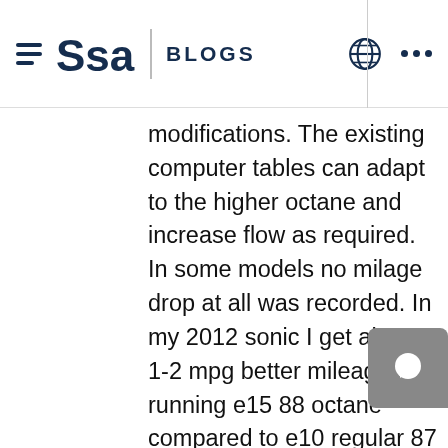SAS BLOGS
modifications. The existing computer tables can adapt to the higher octane and increase flow as required. In some models no milage drop at all was recorded. In my 2012 sonic I get about 1-2 mpg better mileage running e15 88 octane compared to e10 regular 87 octane gasoline. "Odd" considering it has less btus. Well not so odd when you realize it's more efficient at converting energy. Less of the gasoline ends up as unburned hydrocarbons misting out the tailpipe. Ethanol is oxygenated. Rather than having to mix the oxygen into the fuel in the combustion chamber it provides